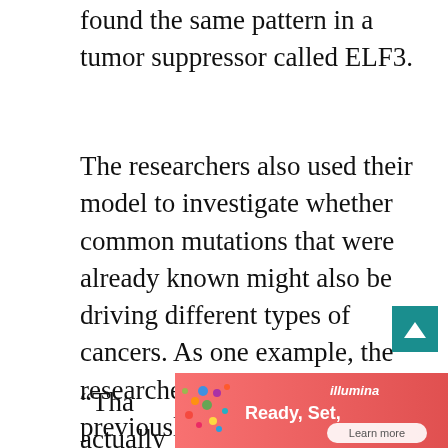found the same pattern in a tumor suppressor called ELF3.
The researchers also used their model to investigate whether common mutations that were already known might also be driving different types of cancers. As one example, the researchers found that BRAF, previously linked to melanoma, also contributes to cancer progression in smaller percentages of other types of cancers, including pancreatic, liver, and gastroesophageal.
“That shows that there’s actually a lot of overlap between the landscapes of common
[Figure (other): Illumina advertisement banner with colorful dots graphic, text 'Ready, Set,' and 'Learn more' button]